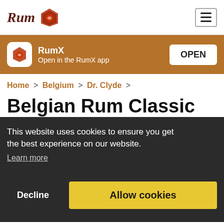Rum [logo] | [hamburger menu]
[Figure (screenshot): RumX app banner with logo icon, 'RumX' title, 'Open in the RumX app' subtitle, and an OPEN button on brown background]
Home > Belgium > Dr. Clyde >
Belgian Rum Classic
Dr. Clyde
This website uses cookies to ensure you get the best experience on our website.
Learn more
Decline | Allow cookies